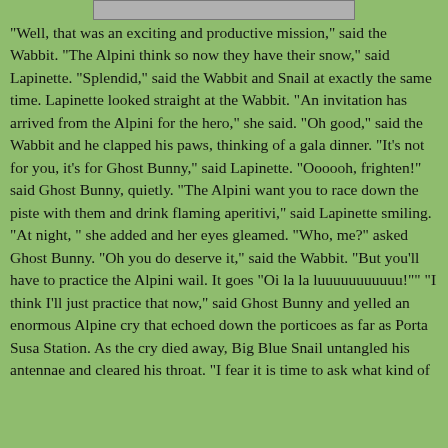[Figure (photo): Partial image strip visible at top of page, cropped]
"Well, that was an exciting and productive mission," said the Wabbit. "The Alpini think so now they have their snow," said Lapinette. "Splendid," said the Wabbit and Snail at exactly the same time. Lapinette looked straight at the Wabbit. "An invitation has arrived from the Alpini for the hero," she said. "Oh good," said the Wabbit and he clapped his paws, thinking of a gala dinner. "It's not for you, it's for Ghost Bunny," said Lapinette. "Oooooh, frighten!" said Ghost Bunny, quietly. "The Alpini want you to race down the piste with them and drink flaming aperitivi," said Lapinette smiling. “At night, ” she added and her eyes gleamed. "Who, me?" asked Ghost Bunny. "Oh you do deserve it," said the Wabbit. "But you'll have to practice the Alpini wail. It goes "Oi la la luuuuuuuuuuu!"" "I think I'll just practice that now," said Ghost Bunny and yelled an enormous Alpine cry that echoed down the porticoes as far as Porta Susa Station. As the cry died away, Big Blue Snail untangled his antennae and cleared his throat. "I fear it is time to ask what kind of